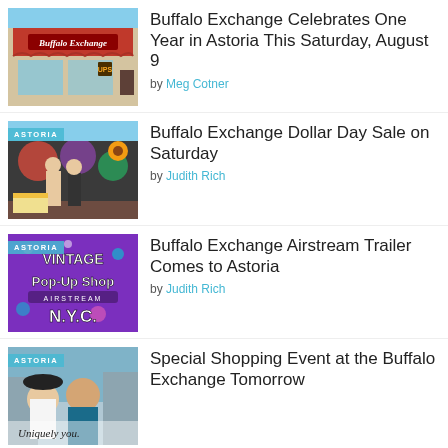[Figure (photo): Buffalo Exchange storefront with red awning and sign]
Buffalo Exchange Celebrates One Year in Astoria This Saturday, August 9
by Meg Cotner
[Figure (photo): Two people standing in front of a colorful train car. ASTORIA badge.]
Buffalo Exchange Dollar Day Sale on Saturday
by Judith Rich
[Figure (photo): Vintage Pop-Up Shop NYC Airstream promotional graphic. ASTORIA badge.]
Buffalo Exchange Airstream Trailer Comes to Astoria
by Judith Rich
[Figure (photo): Two smiling people with text Uniquely you. ASTORIA badge.]
Special Shopping Event at the Buffalo Exchange Tomorrow